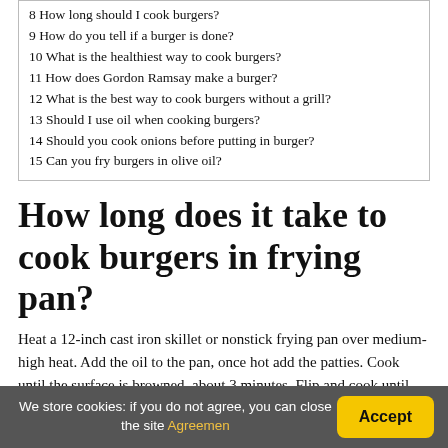8 How long should I cook burgers?
9 How do you tell if a burger is done?
10 What is the healthiest way to cook burgers?
11 How does Gordon Ramsay make a burger?
12 What is the best way to cook burgers without a grill?
13 Should I use oil when cooking burgers?
14 Should you cook onions before putting in burger?
15 Can you fry burgers in olive oil?
How long does it take to cook burgers in frying pan?
Heat a 12-inch cast iron skillet or nonstick frying pan over medium-high heat. Add the oil to the pan, once hot add the patties. Cook until the surface is browned, about 3 minutes. Flip and cook until the desired doneness is reached, about 2 to 5 minutes.
We store cookies: if you do not agree, you can close the site Agreemen